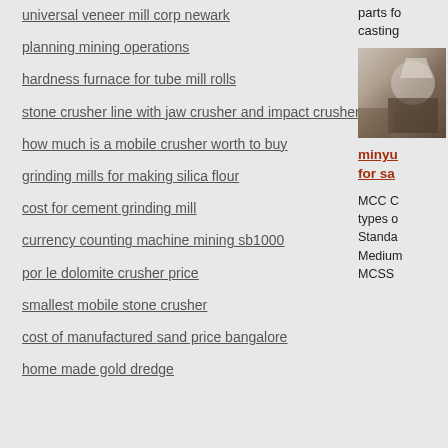universal veneer mill corp newark
planning mining operations
hardness furnace for tube mill rolls
stone crusher line with jaw crusher and impact crusher
how much is a mobile crusher worth to buy
grinding mills for making silica flour
cost for cement grinding mill
currency counting machine mining sb1000
por le dolomite crusher price
smallest mobile stone crusher
cost of manufactured sand price bangalore
home made gold dredge
parts fo casting
[Figure (photo): Industrial machinery photo showing a mill or crusher]
minyu for sa
MCC C types o Standa Medium MCSS